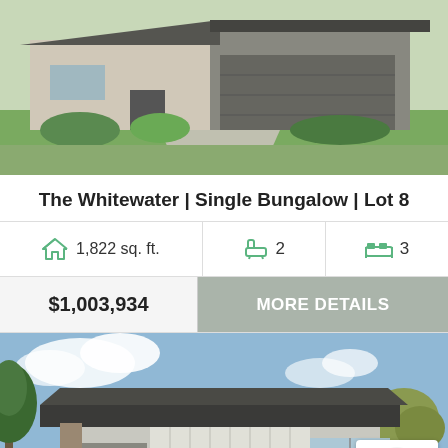[Figure (photo): Exterior rendering of a modern single-family bungalow home with brick and stone facade, manicured lawn, and two-car garage]
The Whitewater | Single Bungalow | Lot 8
| Area | Bathrooms | Bedrooms |
| --- | --- | --- |
| 1,822 sq. ft. | 2 | 3 |
| Price | Action |
| --- | --- |
| $1,003,934 | MORE DETAILS |
[Figure (photo): Exterior rendering of a contemporary single-level bungalow home with dark roof, vertical panel siding, large windows, and surrounded by trees]